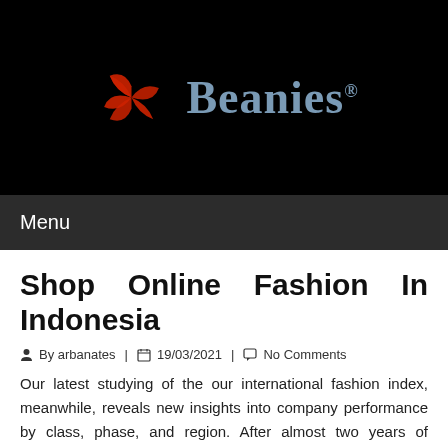[Figure (logo): Beanies brand logo: a red pinwheel/swirl icon on black background with grey serif text 'Beanies' and registered trademark symbol]
Menu
Shop Online Fashion In Indonesia
By arbanates | 19/03/2021 | No Comments
Our latest studying of the our international fashion index, meanwhile, reveals new insights into company performance by class, phase, and region. After almost two years of disruption, the worldwide fashion trade is once once more discovering its toes. Companies are adapting to new shopper priorities, and